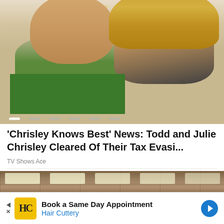[Figure (photo): Todd and Julie Chrisley smiling together in front of a decorated Christmas tree. Todd wears a green sweater, Julie has blonde hair. Carousel dots visible at the bottom of the image.]
'Chrisley Knows Best' News: Todd and Julie Chrisley Cleared Of Their Tax Evasi...
TV Shows Ace
[Figure (photo): Interior of a retail store or salon with brown ceiling tiles and recessed fluorescent lighting panels. Partial view of store interior.]
Book a Same Day Appointment Hair Cuttery